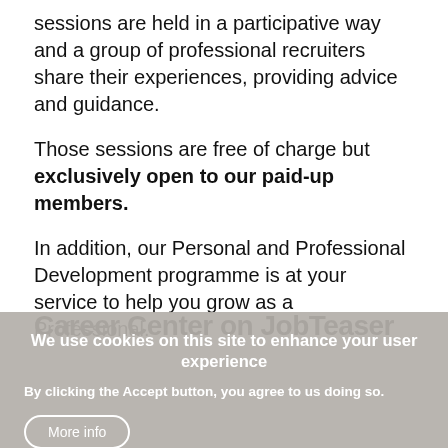sessions are held in a participative way and a group of professional recruiters share their experiences, providing advice and guidance.
Those sessions are free of charge but exclusively open to our paid-up members.
In addition, our Personal and Professional Development programme is at your service to help you grow as a Professional.
Career Center on JobTeaser
We use cookies on this site to enhance your user experience
By clicking the Accept button, you agree to us doing so.
More info